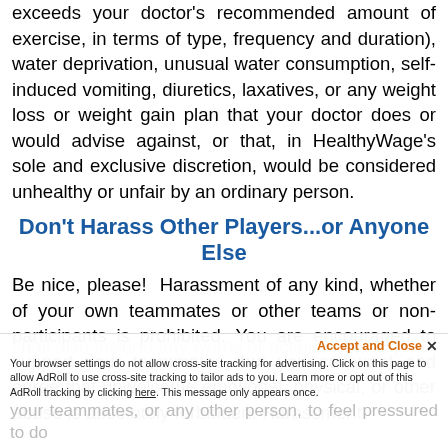exceeds your doctor's recommended amount of exercise, in terms of type, frequency and duration), water deprivation, unusual water consumption, self-induced vomiting, diuretics, laxatives, or any weight loss or weight gain plan that your doctor does or would advise against, or that, in HealthyWage's sole and exclusive discretion, would be considered unhealthy or unfair by an ordinary person.
Don't Harass Other Players...or Anyone Else
Be nice, please!  Harassment of any kind, whether of your own teammates or other teams or non-participants is prohibited. You are encouraged to support your teammates, but you covenant and agree that unwelcome emotional, physical, or other abuse is absolutely forbidden. Harassment shall also include any words or actions that, in [faded] your teammates, or any other person, to feel pressured to do [faded]